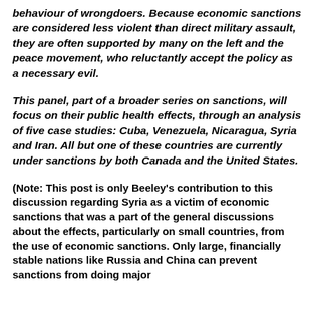behaviour of wrongdoers. Because economic sanctions are considered less violent than direct military assault, they are often supported by many on the left and the peace movement, who reluctantly accept the policy as a necessary evil.
This panel, part of a broader series on sanctions, will focus on their public health effects, through an analysis of five case studies: Cuba, Venezuela, Nicaragua, Syria and Iran. All but one of these countries are currently under sanctions by both Canada and the United States.
(Note: This post is only Beeley's contribution to this discussion regarding Syria as a victim of economic sanctions that was a part of the general discussions about the effects, particularly on small countries, from the use of economic sanctions. Only large, financially stable nations like Russia and China can prevent sanctions from doing major